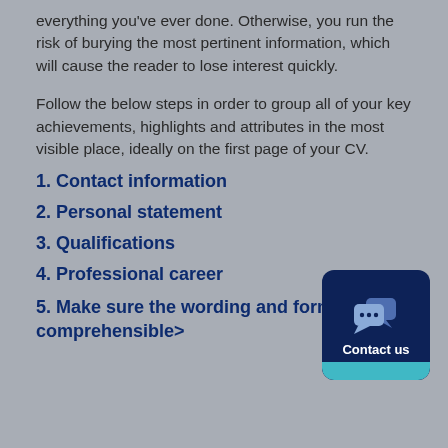everything you've ever done. Otherwise, you run the risk of burying the most pertinent information, which will cause the reader to lose interest quickly.
Follow the below steps in order to group all of your key achievements, highlights and attributes in the most visible place, ideally on the first page of your CV.
1. Contact information
2. Personal statement
3. Qualifications
4. Professional career
5. Make sure the wording and format are comprehensible>
[Figure (illustration): Dark navy blue rounded square button with two speech bubble icons and 'Contact us' label, with a teal/cyan bar at the bottom]